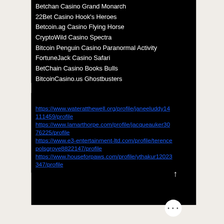Betchan Casino Grand Monarch
22Bet Casino Hook's Heroes
Betcoin.ag Casino Flying Horse
CryptoWild Casino Spectra
Bitcoin Penguin Casino Paranormal Activity
FortuneJack Casino Safari
BetChain Casino Books Bulls
BitcoinCasino.us Ghostbusters
https://www.wateratthewell.org/profile/janeeluddy14111459/profile
https://www.lamarthorpe.com/profile/jacqueauker3076225/profile
https://www.e3-entertainment-ltd.com/profile/terencepolsgrove8822147/profile
https://www.houseforpaws.com/profile/ythakur12023347/profile
© Charlene Branquinho